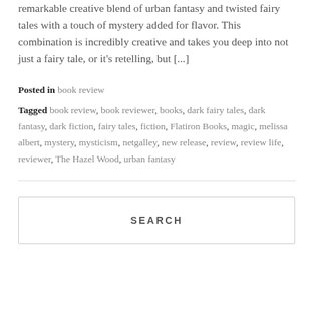remarkable creative blend of urban fantasy and twisted fairy tales with a touch of mystery added for flavor. This combination is incredibly creative and takes you deep into not just a fairy tale, or it's retelling, but [...]
Posted in book review
Tagged book review, book reviewer, books, dark fairy tales, dark fantasy, dark fiction, fairy tales, fiction, Flatiron Books, magic, melissa albert, mystery, mysticism, netgalley, new release, review, review life, reviewer, The Hazel Wood, urban fantasy
SEARCH